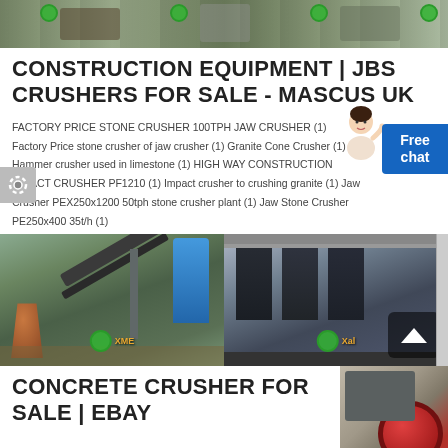[Figure (photo): Banner photo of construction/crushing equipment at a site]
CONSTRUCTION EQUIPMENT | JBS CRUSHERS FOR SALE - MASCUS UK
FACTORY PRICE STONE CRUSHER 100TPH JAW CRUSHER (1) Factory Price stone crusher of jaw crusher (1) Granite Cone Crusher (1) Hammer crusher used in limestone (1) HIGH WAY CONSTRUCTION IMPACT CRUSHER PF1210 (1) Impact crusher to crushing granite (1) Jaw Crusher PEX250x1200 50tph stone crusher plant (1) Jaw Stone Crusher PE250x400 35t/h (1)
[Figure (photo): Two photos of crushing plant equipment: left shows cone crusher with conveyor belt and blue silo; right shows multiple vertical cone crushers in industrial hall]
CONCRETE CRUSHER FOR SALE | EBAY
CONCRETE CRUSHER SEBA LITE TRACK 5030 - Compact Jaw Crusher £39,950 + VAT.
Get a Quote
WhatsApp